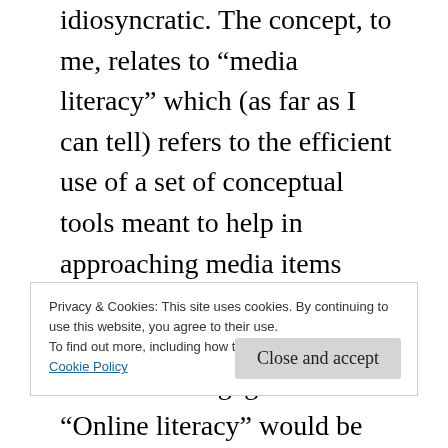idiosyncratic. The concept, to me, relates to “media literacy” which (as far as I can tell) refers to the efficient use of a set of conceptual tools meant to help in approaching media items from the perspective of critical thinking and intellectual engagement. “Online literacy” would be the same thing applied to the Internet in general. One element specific to online literacy, I would argue, is that some basic principles of the Internet (including its decentralized character) make the
Privacy & Cookies: This site uses cookies. By continuing to use this website, you agree to their use.
To find out more, including how to control cookies, see here:
Cookie Policy
Close and accept
ng...